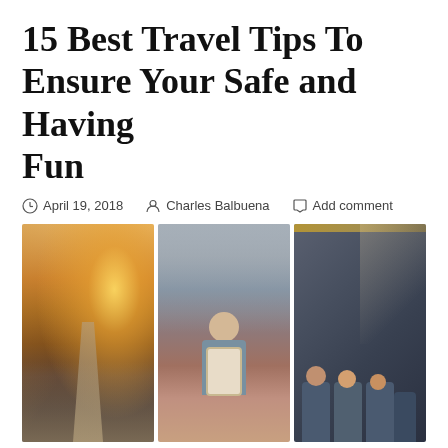15 Best Travel Tips To Ensure Your Safe and Having Fun
April 19, 2018  Charles Balbuena  Add comment
[Figure (photo): Three travel photos side by side: a road stretching into a sunny horizon with a map, a traveler with a backpack seen from behind in a busy street, and passengers sitting inside a bus.]